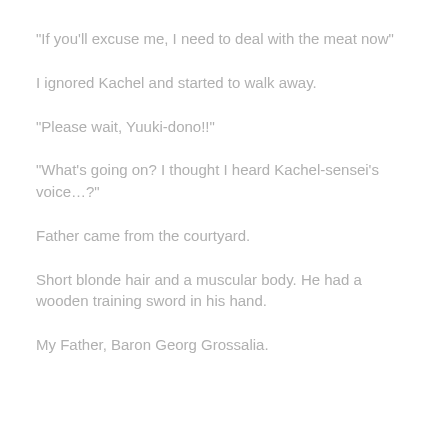“If you’ll excuse me, I need to deal with the meat now”
I ignored Kachel and started to walk away.
“Please wait, Yuuki-dono!!”
“What’s going on? I thought I heard Kachel-sensei’s voice…?”
Father came from the courtyard.
Short blonde hair and a muscular body. He had a wooden training sword in his hand.
My Father, Baron Georg Grossalia.